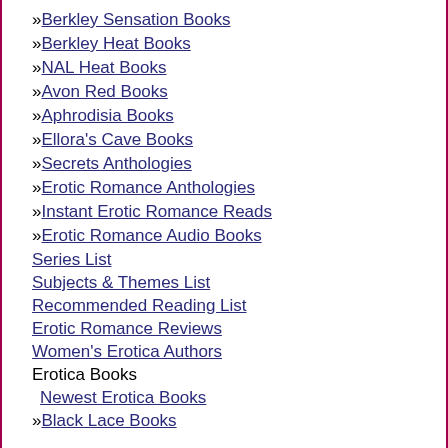» Berkley Sensation Books
» Berkley Heat Books
» NAL Heat Books
» Avon Red Books
» Aphrodisia Books
» Ellora's Cave Books
» Secrets Anthologies
» Erotic Romance Anthologies
» Instant Erotic Romance Reads
» Erotic Romance Audio Books
Series List
Subjects & Themes List
Recommended Reading List
Erotic Romance Reviews
Women's Erotica Authors
Erotica Books
Newest Erotica Books
» Black Lace Books